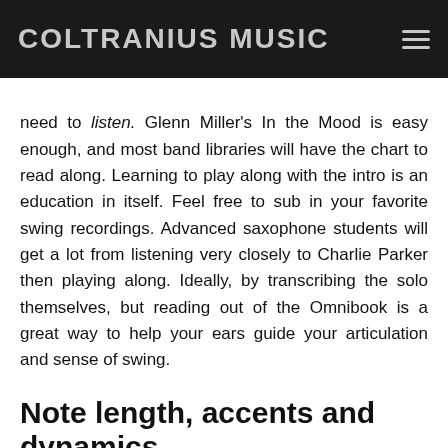COLTRANIUS MUSIC
How can students practice this articulation? First, they need to listen. Glenn Miller's In the Mood is easy enough, and most band libraries will have the chart to read along. Learning to play along with the intro is an education in itself. Feel free to sub in your favorite swing recordings. Advanced saxophone students will get a lot from listening very closely to Charlie Parker then playing along. Ideally, by transcribing the solo themselves, but reading out of the Omnibook is a great way to help your ears guide your articulation and sense of swing.
Note length, accents and dynamics
As I noted earlier, Brian has done an excellent job of marking these stylistic considerations. Note the F# (I'm looking at an alto part) on the and of four in bar two. The crescendo is not just an artistic license taken by the composer; it is actually appropriate and nearly